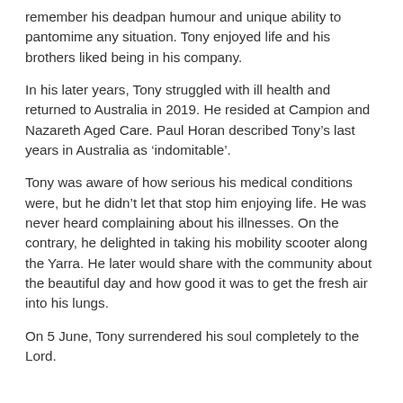remember his deadpan humour and unique ability to pantomime any situation. Tony enjoyed life and his brothers liked being in his company.
In his later years, Tony struggled with ill health and returned to Australia in 2019. He resided at Campion and Nazareth Aged Care. Paul Horan described Tony’s last years in Australia as ‘indomitable’.
Tony was aware of how serious his medical conditions were, but he didn’t let that stop him enjoying life. He was never heard complaining about his illnesses. On the contrary, he delighted in taking his mobility scooter along the Yarra. He later would share with the community about the beautiful day and how good it was to get the fresh air into his lungs.
On 5 June, Tony surrendered his soul completely to the Lord.